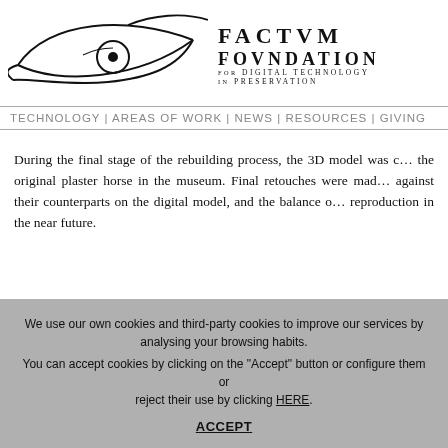[Figure (logo): Factum Foundation logo: stylized eye drawing with flowing lines, alongside text 'FACTVM FOUNDATION for DIGITAL TECHNOLOGY in PRESERVATION']
TECHNOLOGY | AREAS OF WORK | NEWS | RESOURCES | GIVING
During the final stage of the rebuilding process, the 3D model was compared against the original plaster horse in the museum. Final retouches were made against their counterparts on the digital model, and the balance of the reproduction in the near future.
We use our own cookies and third-party cookies to improve our services by analysing your browsing habits.
You can accept cookies by clicking on the "Accept" button or configure them or reject their use by clicking HERE.
ACCEPT